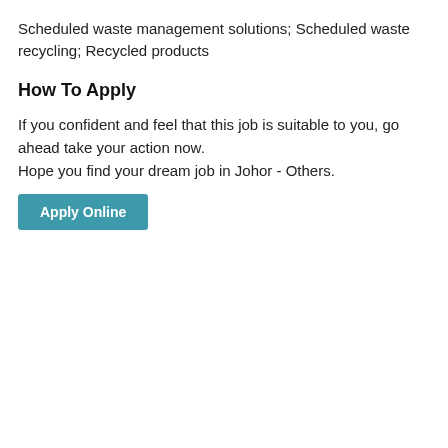Scheduled waste management solutions; Scheduled waste recycling; Recycled products
How To Apply
If you confident and feel that this job is suitable to you, go ahead take your action now.
Hope you find your dream job in Johor - Others.
Apply Online